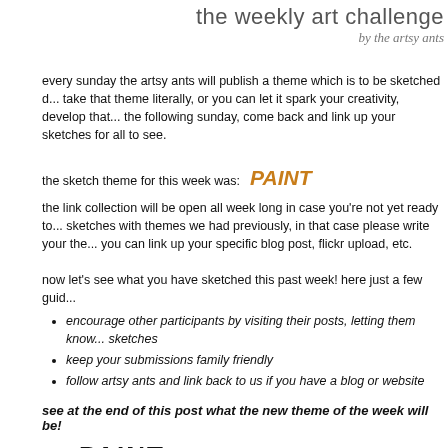the weekly art challenge
by the artsy ants
every sunday the artsy ants will publish a theme which is to be sketched d... take that theme literally, or you can let it spark your creativity, develop that... the following sunday, come back and link up your sketches for all to see.
the sketch theme for this week was: PAINT
the link collection will be open all week long in case you're not yet ready to... sketches with themes we had previously, in that case please write your the... you can link up your specific blog post, flickr upload, etc.
now let's see what you have sketched this past week! here just a few guid...
encourage other participants by visiting their posts, letting them know... sketches
keep your submissions family friendly
follow artsy ants and link back to us if you have a blog or website
see at the end of this post what the new theme of the week will be!
... PAINT ...